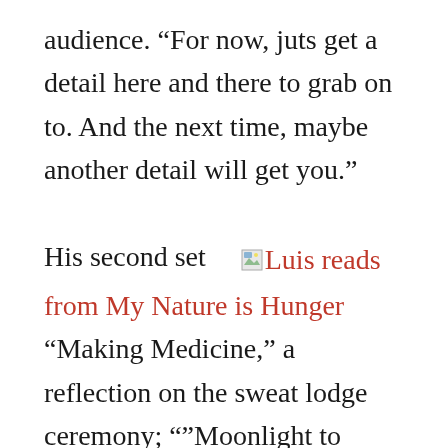audience. “For now, juts get a detail here and there to grab on to. And the next time, maybe another detail will get you.” His second set [Luis reads from My Nature is Hunger] “Making Medicine,” a reflection on the sweat lodge ceremony; “”Moonlight to Water,” an ode to his youngest sons and their sibling dynamic; “Machu Picchu or...